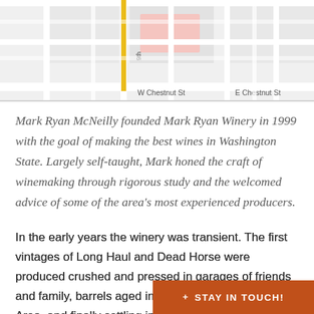[Figure (map): Street map showing W Chestnut St and E Chestnut St intersection area with a highlighted yellow route along a vertical street (9th). Light gray road grid on white/light background with a pink-shaded building area.]
Mark Ryan McNeilly founded Mark Ryan Winery in 1999 with the goal of making the best wines in Washington State. Largely self-taught, Mark honed the craft of winemaking through rigorous study and the welcomed advice of some of the area's most experienced producers.
In the early years the winery was transient. The first vintages of Long Haul and Dead Horse were produced crushed and pressed in garages of friends and family, barrels aged in warehouses in the Seattle Area, and finally settling in Woodinville, WA in 2007